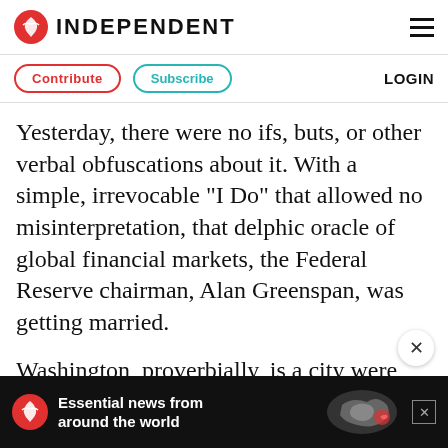INDEPENDENT
Contribute  Subscribe  LOGIN
Yesterday, there were no ifs, buts, or other verbal obfuscations about it. With a simple, irrevocable "I Do" that allowed no misinterpretation, that delphic oracle of global financial markets, the Federal Reserve chairman, Alan Greenspan, was getting married.
Washington, proverbially, is a city were powerful officials and powerful reporters need each other. Even so, the Greenspan match is carrying matters to extremes. His bride is
[Figure (infographic): Advertisement banner: black background with The Independent logo (red circle with white bird), text 'Essential news from around the world' with world map graphic and X close button.]